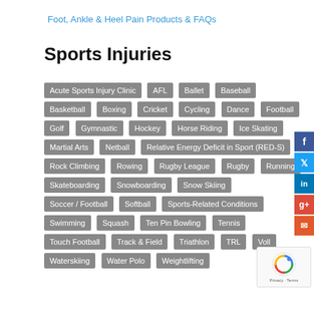Foot, Ankle & Heel Pain Products & FAQs
Sports Injuries
Acute Sports Injury Clinic
AFL
Ballet
Baseball
Basketball
Boxing
Cricket
Cycling
Dance
Football
Golf
Gymnastic
Hockey
Horse Riding
Ice Skating
Martial Arts
Netball
Relative Energy Deficit in Sport (RED-S)
Rock Climbing
Rowing
Rugby League
Rugby
Running
Skateboarding
Snowboarding
Snow Skiing
Soccer / Football
Softball
Sports-Related Conditions
Swimming
Squash
Ten Pin Bowling
Tennis
Touch Football
Track & Field
Triathlon
TRL
Voll
Waterskiing
Water Polo
Weightlifting